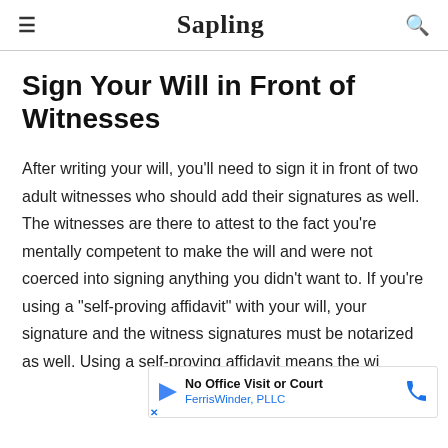Sapling
Sign Your Will in Front of Witnesses
After writing your will, you'll need to sign it in front of two adult witnesses who should add their signatures as well. The witnesses are there to attest to the fact you're mentally competent to make the will and were not coerced into signing anything you didn't want to. If you're using a "self-proving affidavit" with your will, your signature and the witness signatures must be notarized as well. Using a self-proving affidavit means the wi... ourt to tec... hings